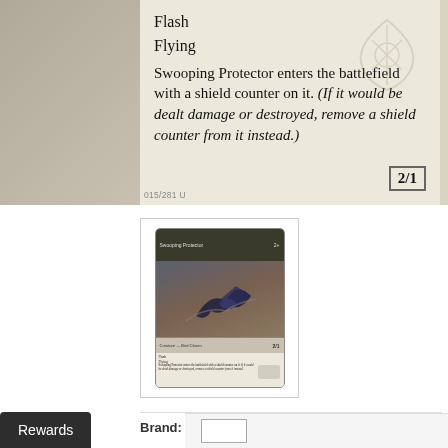[Figure (photo): Close-up of Magic: The Gathering card text box showing abilities: Flash, Flying, and Swooping Protector enters the battlefield with a shield counter on it. (If it would be dealt damage or destroyed, remove a shield counter from it instead.) with power/toughness 2/1 in bottom right corner. Card number 015/281 U.]
[Figure (photo): Thumbnail of the full Swooping Protector Foil Magic card showing artwork of a figure with wings in a blue/dark color scheme.]
Brand:  Wizards of the Coast
SWOOPING PROTECTOR FOIL
Write a Review
$0.10
Rewards